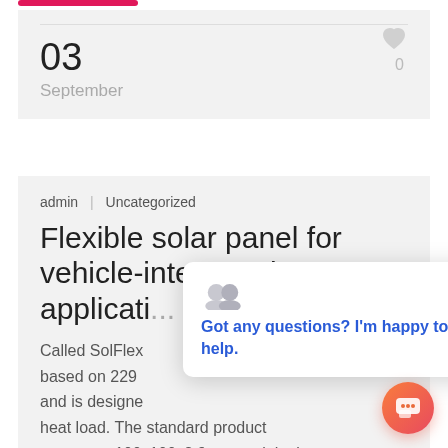03
September
0
admin | Uncategorized
Flexible solar panel for vehicle-integrated applicati...
Called SolFlex based on 229 and is designed heat load. The standard product measures 100x100x2.9mm, weighs in at 3.4kg, and has a power output of 170 W. Germany-based solar panel
[Figure (other): Chat popup overlay with avatar icons showing message 'Got any questions? I'm happy to help.' and a close button, plus an orange circular chat button in the bottom right corner.]